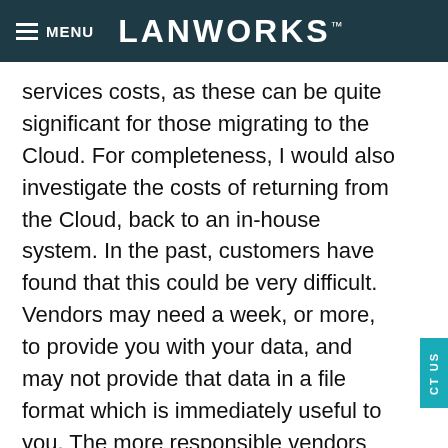MENU  LANWORKS™
services costs, as these can be quite significant for those migrating to the Cloud.  For completeness, I would also investigate the costs of returning from the Cloud, back to an in-house system.  In the past, customers have found that this could be very difficult.  Vendors may need a week, or more, to provide you with your data, and may not provide that data in a file format which is immediately useful to you.  The more responsible vendors are however providing the necessary tools for customers who wish to migrate away from their Cloud.
Don't forget that with a Cloud based solution,